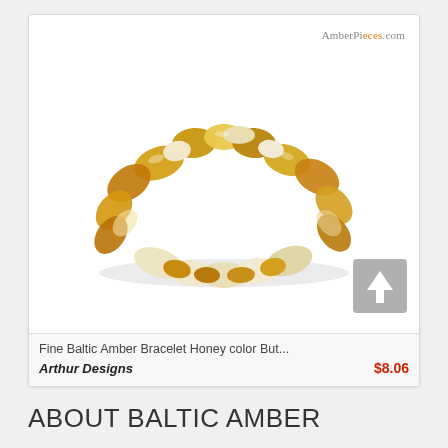[Figure (photo): A Baltic amber bracelet composed of honey-colored and cream/white polished amber pieces strung together, photographed on a white background. Site watermark 'AmberPieces.com' visible in top right corner of the image. A grey scroll-up button is visible in the lower right of the image area.]
Fine Baltic Amber Bracelet Honey color But...
Arthur Designs   $8.06
ABOUT BALTIC AMBER